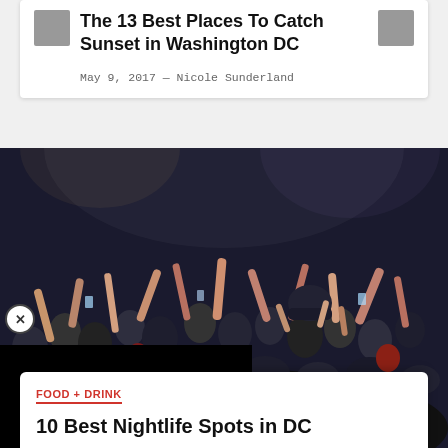The 13 Best Places To Catch Sunset in Washington DC
May 9, 2017 — Nicole Sunderland
[Figure (photo): Concert crowd with hands raised, people crowdsurfing at a nightlife event in DC]
FOOD + DRINK
10 Best Nightlife Spots in DC